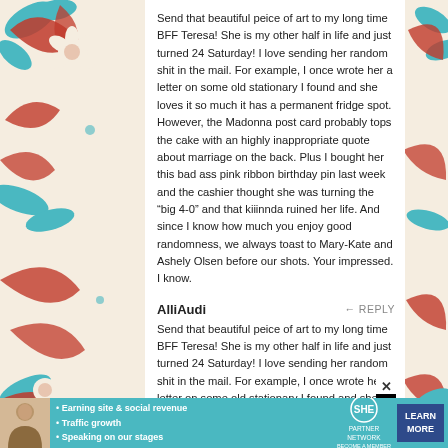Send that beautiful peice of art to my long time BFF Teresa! She is my other half in life and just turned 24 Saturday! I love sending her random shit in the mail. For example, I once wrote her a letter on some old stationary I found and she loves it so much it has a permanent fridge spot. However, the Madonna post card probably tops the cake with an highly inappropriate quote about marriage on the back. Plus I bought her this bad ass pink ribbon birthday pin last week and the cashier thought she was turning the “big 4-0” and that kiiinnda ruined her life. And since I know how much you enjoy good randomness, we always toast to Mary-Kate and Ashely Olsen before our shots. Your impressed. I know.
AlliAudi   REPLY
Send that beautiful peice of art to my long time BFF Teresa! She is my other half in life and just turned 24 Saturday! I love sending her random shit in the mail. For example, I once wrote her a letter on some old stationary I found and she loves it so much it has a
[Figure (infographic): SHE Partner Network advertisement banner with teal background, featuring a woman's photo, bullet points: Earning site & social revenue, Traffic growth, Speaking on our stages, SHE logo circle, PARTNER NETWORK BECOME A MEMBER text, and LEARN MORE button]